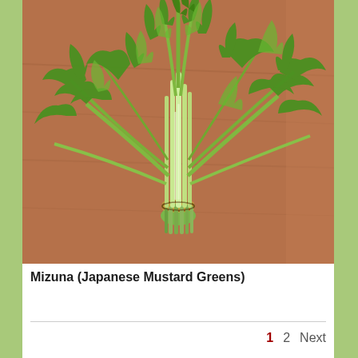[Figure (photo): A bundle of mizuna (Japanese mustard greens) with white stems tied together with a rubber band, lying on a wooden surface. The leaves are bright green and jagged/feathery in shape.]
Mizuna (Japanese Mustard Greens)
1  2  Next